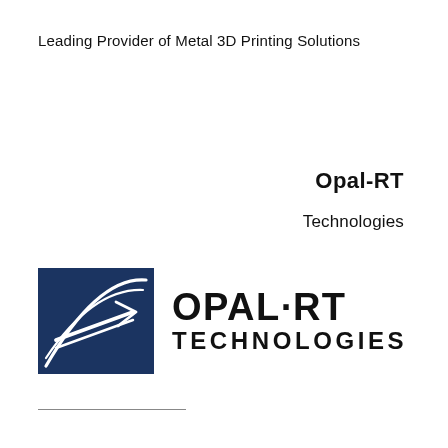Leading Provider of Metal 3D Printing Solutions
Opal-RT
Technologies
[Figure (logo): Opal-RT Technologies logo: dark navy blue square with white curved speed lines and arrow graphic on the left, and bold black text 'OPAL-RT' on the first line and 'TECHNOLOGIES' on the second line to the right.]